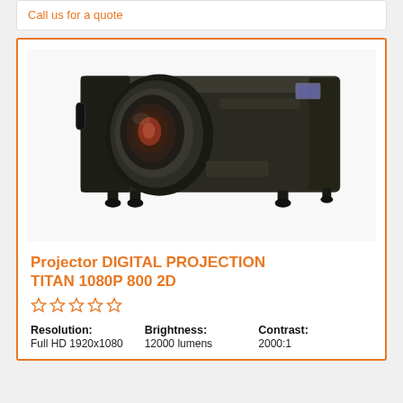Call us for a quote
[Figure (photo): Large professional projector - Digital Projection TITAN 1080P 800 2D, black boxy unit with large lens assembly on front-left]
Projector DIGITAL PROJECTION TITAN 1080P 800 2D
☆☆☆☆☆ (5 empty stars rating)
| Resolution: | Brightness: | Contrast: |
| --- | --- | --- |
| Full HD 1920x1080 | 12000 lumens | 2000:1 |